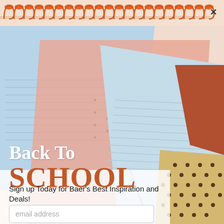[Figure (photo): Back to school advertisement popup showing stacked colorful notebooks (light blue, peach/salmon, tan with dark dots, terracotta/rust) arranged diagonally on white background, with spiral binding decoration at top]
Back To SCHOOL
Sign up Today for Baer's Best Inspiration and Deals!
email address